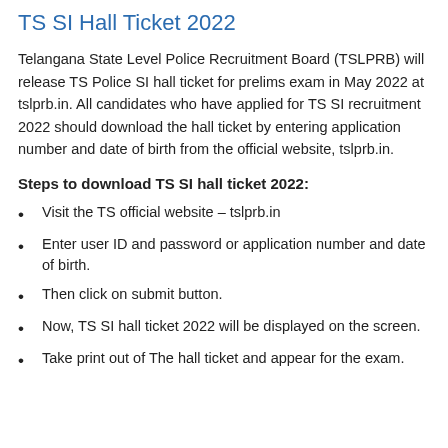TS SI Hall Ticket 2022
Telangana State Level Police Recruitment Board (TSLPRB) will release TS Police SI hall ticket for prelims exam in May 2022 at tslprb.in. All candidates who have applied for TS SI recruitment 2022 should download the hall ticket by entering application number and date of birth from the official website, tslprb.in.
Steps to download TS SI hall ticket 2022:
Visit the TS official website – tslprb.in
Enter user ID and password or application number and date of birth.
Then click on submit button.
Now, TS SI hall ticket 2022 will be displayed on the screen.
Take print out of The hall ticket and appear for the exam.